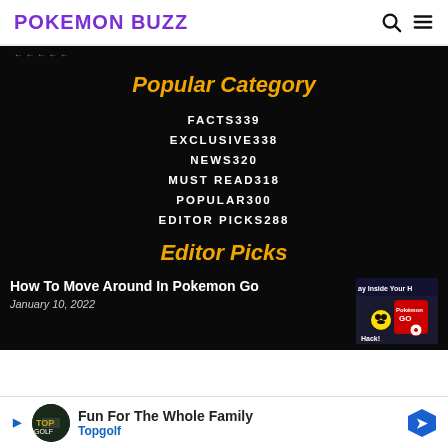POKEMON BUZZ
Popular Category
FACTS 339
EXCLUSIVE 338
NEWS 320
MUST READ 318
POPULAR 300
EDITOR PICKS 288
Editor Picks
How To Move Around In Pokemon Go
January 10, 2022
[Figure (screenshot): Pokemon Go thumbnail image showing Pikachu and Pokemon GO logo with 'Play Inside Your H' text overlay]
Fun For The Whole Family Topgolf